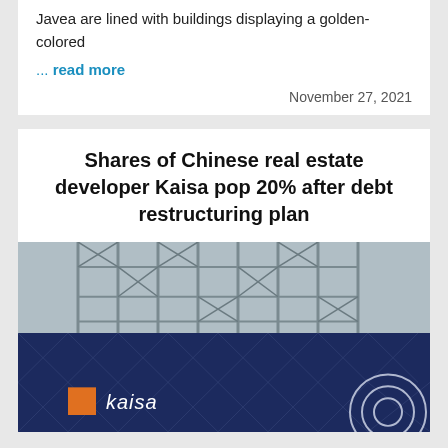Javea are lined with buildings displaying a golden-colored
... read more
November 27, 2021
Shares of Chinese real estate developer Kaisa pop 20% after debt restructuring plan
[Figure (photo): Photo of a construction site with scaffolding in the upper portion and a dark navy blue Kaisa branded banner/hoarding in the lower portion, with the Kaisa logo and an orange square visible.]